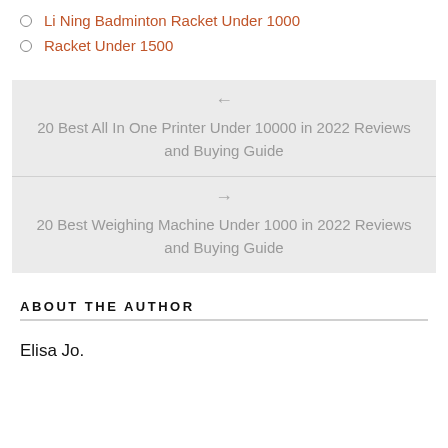Li Ning Badminton Racket Under 1000
Racket Under 1500
← 20 Best All In One Printer Under 10000 in 2022 Reviews and Buying Guide
→ 20 Best Weighing Machine Under 1000 in 2022 Reviews and Buying Guide
ABOUT THE AUTHOR
Elisa Jo.